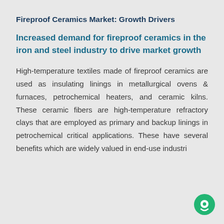Fireproof Ceramics Market: Growth Drivers
Increased demand for fireproof ceramics in the iron and steel industry to drive market growth
High-temperature textiles made of fireproof ceramics are used as insulating linings in metallurgical ovens & furnaces, petrochemical heaters, and ceramic kilns. These ceramic fibers are high-temperature refractory clays that are employed as primary and backup linings in petrochemical critical applications. These have several benefits which are widely valued in end-use industries